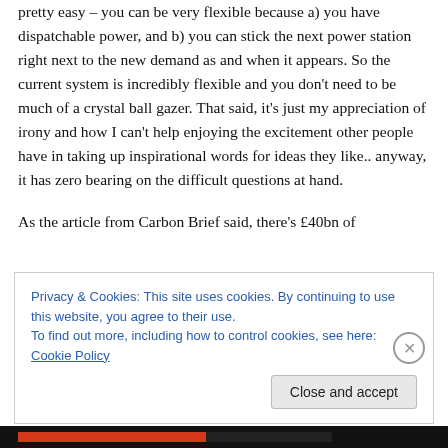pretty easy – you can be very flexible because a) you have dispatchable power, and b) you can stick the next power station right next to the new demand as and when it appears. So the current system is incredibly flexible and you don't need to be much of a crystal ball gazer. That said, it's just my appreciation of irony and how I can't help enjoying the excitement other people have in taking up inspirational words for ideas they like.. anyway, it has zero bearing on the difficult questions at hand.
As the article from Carbon Brief said, there's £40bn of
Privacy & Cookies: This site uses cookies. By continuing to use this website, you agree to their use.
To find out more, including how to control cookies, see here: Cookie Policy